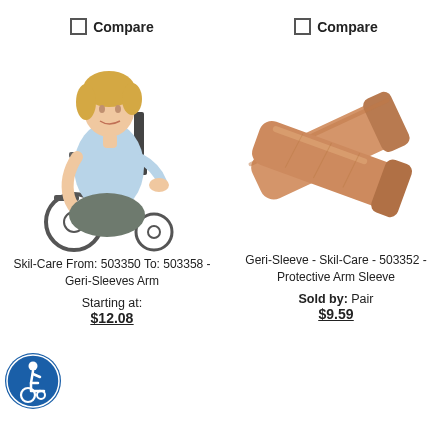Compare (left column checkbox)
Compare (right column checkbox)
[Figure (photo): Elderly woman in light blue shirt seated in a wheelchair, smiling, with arms resting on wheelchair armrests.]
[Figure (photo): Two tan/skin-colored Geri-Sleeve protective arm sleeves laid out overlapping on a white background.]
Skil-Care From: 503350 To: 503358 - Geri-Sleeves Arm
Geri-Sleeve - Skil-Care - 503352 - Protective Arm Sleeve
Starting at:
Sold by: Pair
$12.08
$9.59
[Figure (logo): Blue circular accessibility icon with wheelchair user symbol in white.]